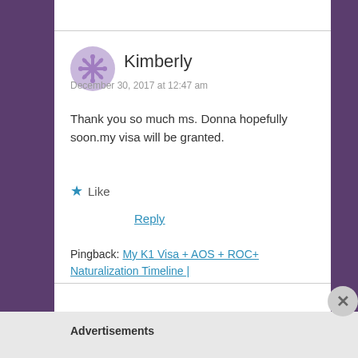Kimberly
December 30, 2017 at 12:47 am
Thank you so much ms. Donna hopefully soon.my visa will be granted.
Like
Reply
Pingback: My K1 Visa + AOS + ROC+ Naturalization Timeline |
Advertisements